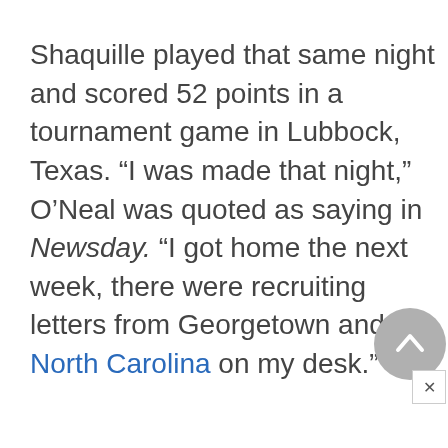Shaquille played that same night and scored 52 points in a tournament game in Lubbock, Texas. “I was made that night,” O’Neal was quoted as saying in Newsday. “I got home the next week, there were recruiting letters from Georgetown and North Carolina on my desk.”